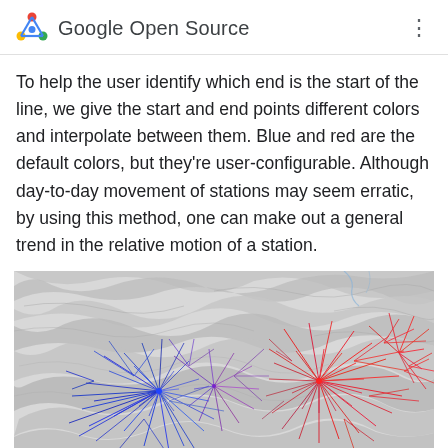Google Open Source
To help the user identify which end is the start of the line, we give the start and end points different colors and interpolate between them. Blue and red are the default colors, but they're user-configurable. Although day-to-day movement of stations may seem erratic, by using this method, one can make out a general trend in the relative motion of a station.
[Figure (map): A topographic map showing GPS station movement paths rendered as colored lines transitioning from blue (start) to red (end), illustrating station motion trends over a geographic region with gray terrain relief.]